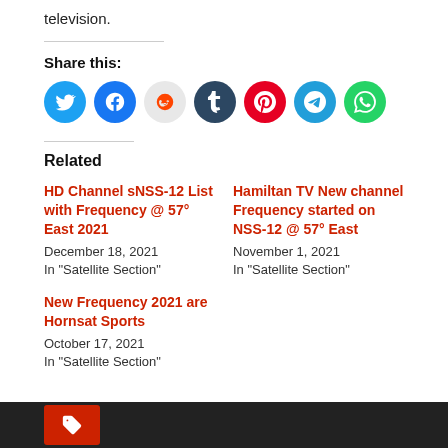television.
Share this:
[Figure (other): Social share icons: Twitter, Facebook, Reddit, Tumblr, Pinterest, Telegram, WhatsApp]
Related
HD Channel sNSS-12 List with Frequency @ 57° East 2021
December 18, 2021
In "Satellite Section"
Hamiltan TV New channel Frequency started on NSS-12 @ 57° East
November 1, 2021
In "Satellite Section"
New Frequency 2021 are Hornsat Sports
October 17, 2021
In "Satellite Section"